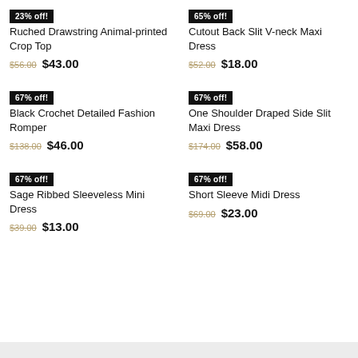23% off! Ruched Drawstring Animal-printed Crop Top — $56.00 / $43.00
65% off! Cutout Back Slit V-neck Maxi Dress — $52.00 / $18.00
67% off! Black Crochet Detailed Fashion Romper — $138.00 / $46.00
67% off! One Shoulder Draped Side Slit Maxi Dress — $174.00 / $58.00
67% off! Sage Ribbed Sleeveless Mini Dress — $39.00 / $13.00
67% off! Short Sleeve Midi Dress — $69.00 / $23.00